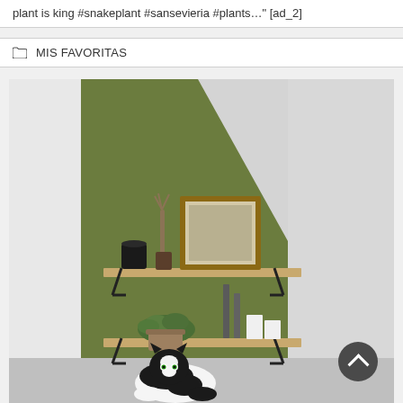plant is king #snakeplant #sansevieria #plants…" [ad_2]
MIS FAVORITAS
[Figure (photo): Interior home decor photo showing two wooden wall shelves mounted on a diagonal green painted wall. Upper shelf holds a framed art print, a dark candle jar, and a vase with dried stems. Lower shelf holds a small potted green plant, two white pillar candles, and a tall dark taper candle. A black and white tuxedo cat sits on the floor below the shelves.]